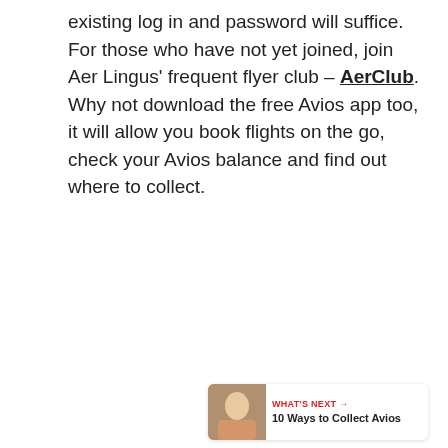existing log in and password will suffice. For those who have not yet joined, join Aer Lingus' frequent flyer club – AerClub. Why not download the free Avios app too, it will allow you book flights on the go, check your Avios balance and find out where to collect.
[Figure (screenshot): UI widget area with a red heart like button showing count of 1, a share button, and a 'What's Next' recommendation bar showing '10 Ways to Collect Avios' with a thumbnail image]